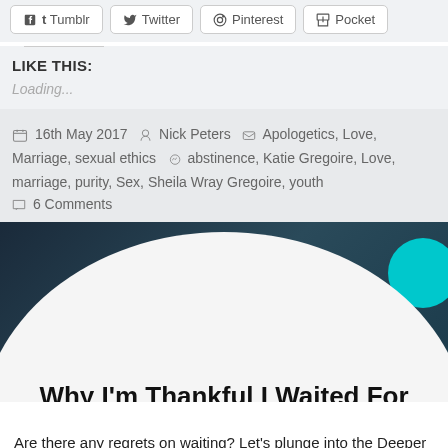[Figure (screenshot): Row of social share buttons: Tumblr, Twitter, Pinterest, Pocket]
LIKE THIS:
Loading...
16th May 2017  Nick Peters  Apologetics, Love, Marriage, sexual ethics  abstinence, Katie Gregoire, Love, marriage, purity, Sex, Sheila Wray Gregoire, youth
6 Comments
Why I’m Thankful I Waited For Marriage
Are there any regrets on waiting? Let’s plunge into the Deeper Waters and find out.